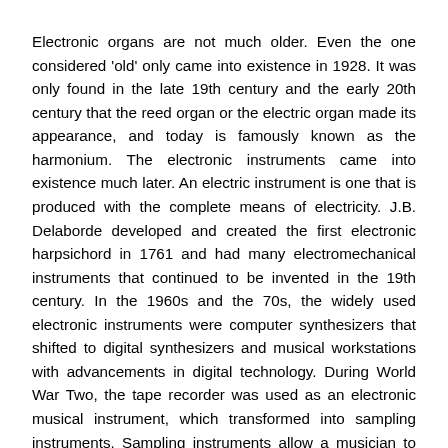Electronic organs are not much older. Even the one considered 'old' only came into existence in 1928. It was only found in the late 19th century and the early 20th century that the reed organ or the electric organ made its appearance, and today is famously known as the harmonium. The electronic instruments came into existence much later. An electric instrument is one that is produced with the complete means of electricity. J.B. Delaborde developed and created the first electronic harpsichord in 1761 and had many electromechanical instruments that continued to be invented in the 19th century. In the 1960s and the 70s, the widely used electronic instruments were computer synthesizers that shifted to digital synthesizers and musical workstations with advancements in digital technology. During World War Two, the tape recorder was used as an electronic musical instrument, which transformed into sampling instruments. Sampling instruments allow a musician to transform a sound waveform, process it, and then play it under musical control. Today, musical instruments and sounds can be created digitally with minimum effort with the help of software.